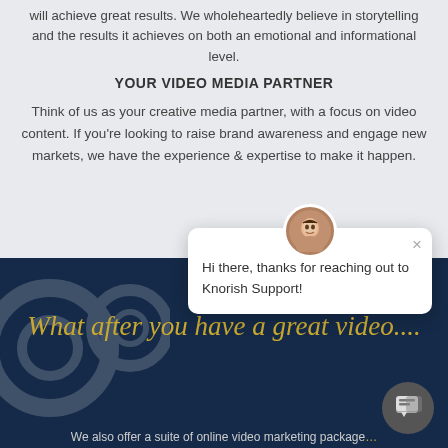will achieve great results. We wholeheartedly believe in storytelling and the results it achieves on both an emotional and informational level.
YOUR VIDEO MEDIA PARTNER
Think of us as your creative media partner, with a focus on video content. If you're looking to raise brand awareness and engage new markets, we have the experience & expertise to make it happen.
[Figure (screenshot): Chat support popup with avatar photo of a woman, close button (×), and text 'Hi there, thanks for reaching out to Knorish Support!']
What after you have a great video....
We also offer a suite of online video marketing package